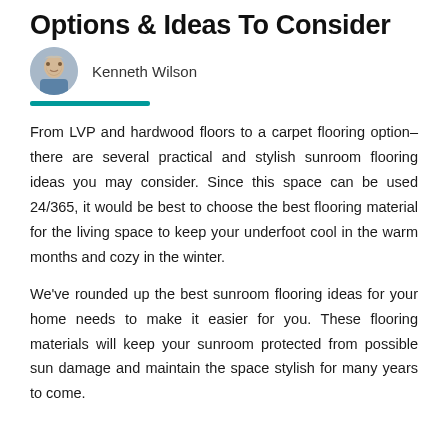Options & Ideas To Consider
Kenneth Wilson
From LVP and hardwood floors to a carpet flooring option– there are several practical and stylish sunroom flooring ideas you may consider. Since this space can be used 24/365, it would be best to choose the best flooring material for the living space to keep your underfoot cool in the warm months and cozy in the winter.
We've rounded up the best sunroom flooring ideas for your home needs to make it easier for you. These flooring materials will keep your sunroom protected from possible sun damage and maintain the space stylish for many years to come.